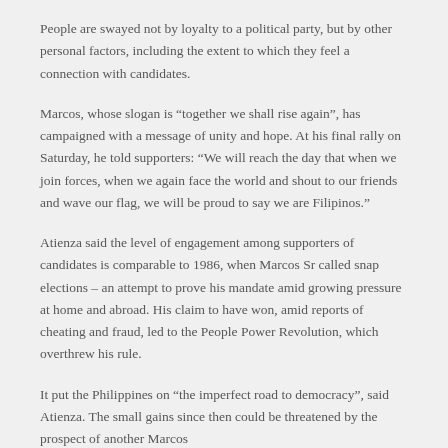People are swayed not by loyalty to a political party, but by other personal factors, including the extent to which they feel a connection with candidates.
Marcos, whose slogan is “together we shall rise again”, has campaigned with a message of unity and hope. At his final rally on Saturday, he told supporters: “We will reach the day that when we join forces, when we again face the world and shout to our friends and wave our flag, we will be proud to say we are Filipinos.”
Atienza said the level of engagement among supporters of candidates is comparable to 1986, when Marcos Sr called snap elections – an attempt to prove his mandate amid growing pressure at home and abroad. His claim to have won, amid reports of cheating and fraud, led to the People Power Revolution, which overthrew his rule.
It put the Philippines on “the imperfect road to democracy”, said Atienza. The small gains since then could be threatened by the prospect of another Marcos